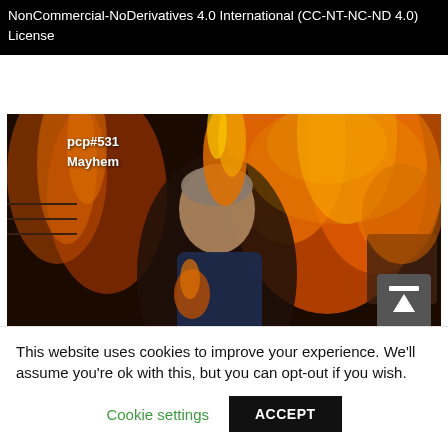NonCommercial-NoDerivatives 4.0 International (CC-NT-NC-ND 4.0) License
[Figure (photo): A manipulated photo showing a woman (resembling a politician) in front of large flames. Text overlay reads 'pcp#531 Mayhem'. A scroll-to-top button is visible in the bottom-right corner of the image.]
This website uses cookies to improve your experience. We'll assume you're ok with this, but you can opt-out if you wish.
Cookie settings    ACCEPT